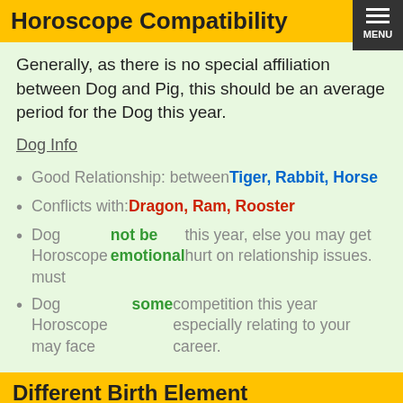Horoscope Compatibility
Generally, as there is no special affiliation between Dog and Pig, this should be an average period for the Dog this year.
Dog Info
Good Relationship: between Tiger, Rabbit, Horse
Conflicts with: Dragon, Ram, Rooster
Dog Horoscope must not be emotional this year, else you may get hurt on relationship issues.
Dog Horoscope may face some competition this year especially relating to your career.
Different Birth Element
| Weak Element Dog |
| --- |
| 1. | Weak Metal Dog will do exceptionally well this year. | Best |